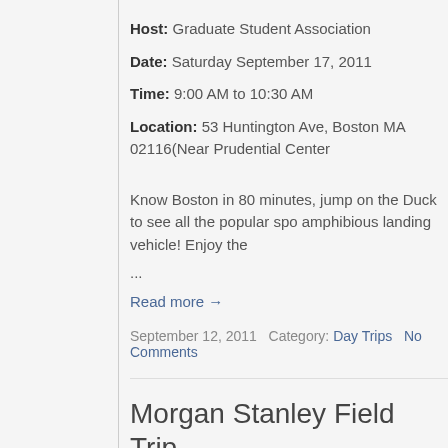Host: Graduate Student Association
Date: Saturday September 17, 2011
Time: 9:00 AM to 10:30 AM
Location: 53 Huntington Ave, Boston MA 02116(Near Prudential Center
Know Boston in 80 minutes, jump on the Duck to see all the popular spo amphibious landing vehicle! Enjoy the
...
Read more →
September 12, 2011   Category: Day Trips   No Comments
Morgan Stanley Field Trip
Host: Indian Graduate Student Organization